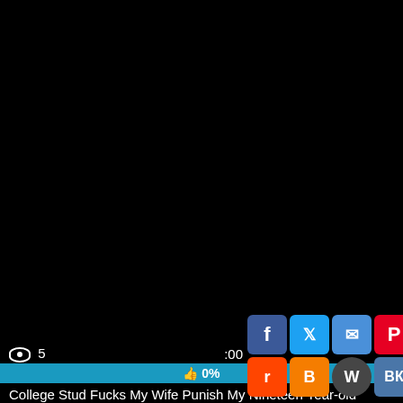👁 2   🕐 08:00
👍 0%
Violent Bondage Gangbang Fuck First Time Raylin Ann Is a
[Figure (screenshot): Black video thumbnail area]
👁 5   :00
[Figure (infographic): Social sharing buttons: Facebook, Twitter, Email, Pinterest, Tumblr, Reddit, Blogger, WordPress, VK, Plus, and scroll-to-top button]
👍 0%
College Stud Fucks My Wife Punish My Nineteen Year-old Backs